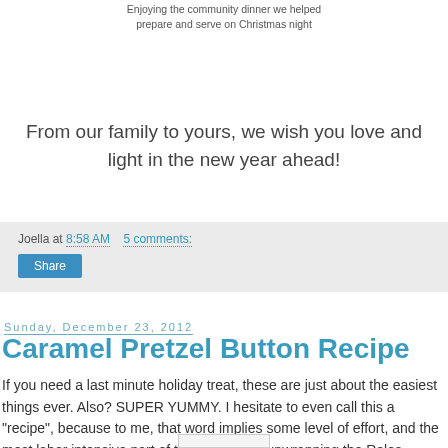Enjoying the community dinner we helped prepare and serve on Christmas night
From our family to yours, we wish you love and light in the new year ahead!
Joella at 8:58 AM   5 comments:
Sunday, December 23, 2012
Caramel Pretzel Button Recipe
If you need a last minute holiday treat, these are just about the easiest things ever. Also? SUPER YUMMY. I hesitate to even call this a "recipe", because to me, that word implies some level of effort, and the most labor intensive part of this process is unwrapping the Rolos.